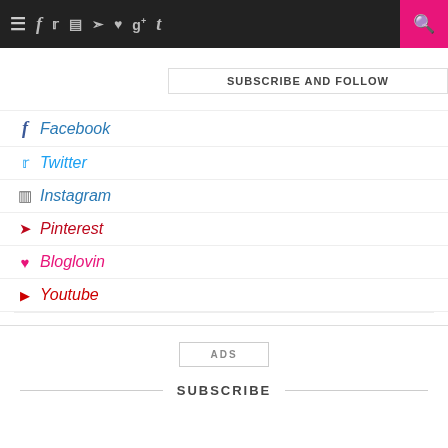Navigation bar with menu, social icons, and search
SUBSCRIBE AND FOLLOW
Facebook
Twitter
Instagram
Pinterest
Bloglovin
Youtube
ADS
SUBSCRIBE